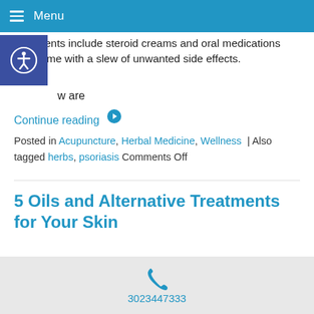Menu
treatments include steroid creams and oral medications that come with a slew of unwanted side effects.
w are
Continue reading →
Posted in Acupuncture, Herbal Medicine, Wellness | Also tagged herbs, psoriasis Comments Off
5 Oils and Alternative Treatments for Your Skin
3023447333